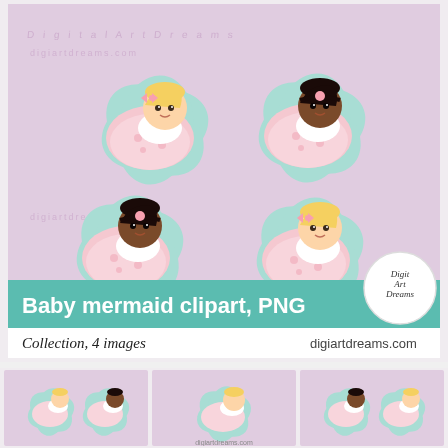[Figure (illustration): Baby mermaid clipart collection showing 4 baby mermaid illustrations on a pink/lavender background. Each mermaid baby is swaddled in a pink wrap with a teal/mint star-shaped element. Two babies have light skin with blonde hair, two have dark skin with dark hair. Bottom banner reads 'Baby mermaid clipart, PNG' in teal, with 'Collection, 4 images' and 'digiartdreams.com'. DigiArt Dreams logo circle on the right.]
[Figure (illustration): Thumbnail 1: small baby mermaid clipart preview showing two mermaids]
[Figure (illustration): Thumbnail 2: small baby mermaid clipart preview]
[Figure (illustration): Thumbnail 3: small baby mermaid clipart preview showing two mermaids]